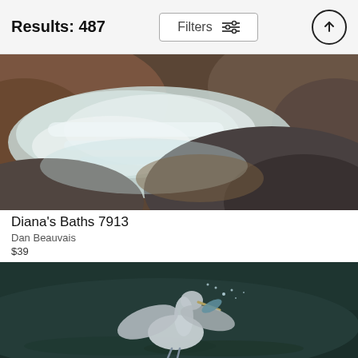Results: 487
Filters
[Figure (photo): A long-exposure nature photograph of Diana's Baths, showing a silky smooth waterfall or stream flowing over smooth granite boulders, with motion blur on the water and warm-toned rocky surfaces.]
Diana's Baths 7913
Dan Beauvais
$39
[Figure (photo): A wildlife photograph of a grey heron catching a fish in dark green water, wings spread, water droplets visible around the action.]